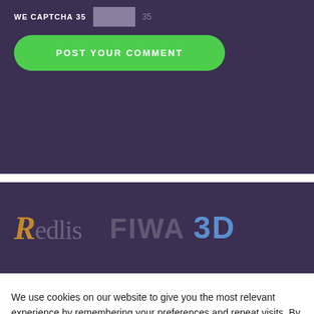[Figure (screenshot): WE CAPTCHA label with input field and number 35]
[Figure (screenshot): POST YOUR COMMENT green rounded button on dark purple background]
[Figure (logo): Redlis logo and FIWA 3D logo on dark purple background, semi-transparent]
We use cookies on our website to give you the most relevant experience by remembering your preferences and repeat visits. By clicking “Accept All”, you consent to the use of ALL the cookies. However, you may visit "Cookie Settings" to provide a controlled consent.
Cookie Settings
Accept All